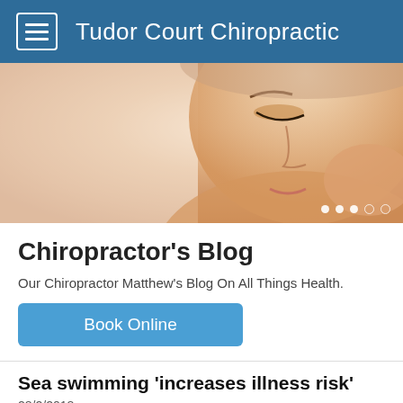Tudor Court Chiropractic
[Figure (photo): Close-up photo of a woman holding her neck, looking downward, suggesting neck pain or discomfort. Slide carousel dots visible at bottom right.]
Chiropractor's Blog
Our Chiropractor Matthew's Blog On All Things Health.
Book Online
Sea swimming 'increases illness risk'
28/2/2018